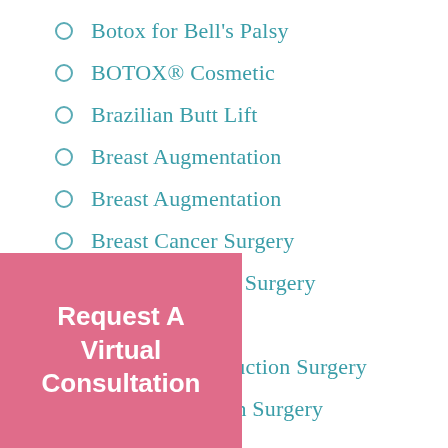Botox for Bell's Palsy
BOTOX® Cosmetic
Brazilian Butt Lift
Breast Augmentation
Breast Augmentation
Breast Cancer Surgery
Breast Cosmetic Surgery
Breast Implants
Breast Reconstruction Surgery
Breast Reduction Surgery
Request A Virtual Consultation